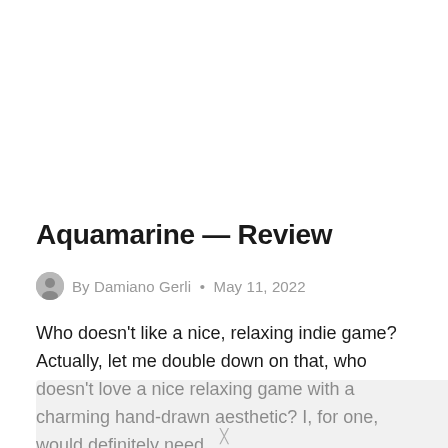Aquamarine — Review
By Damiano Gerli · May 11, 2022
Who doesn't like a nice, relaxing indie game? Actually, let me double down on that, who doesn't love a nice relaxing game with a charming hand-drawn aesthetic? I, for one, would definitely need